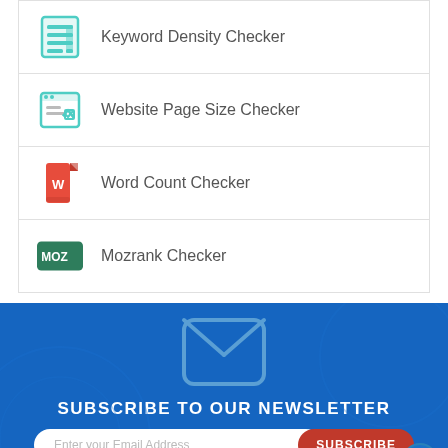Keyword Density Checker
Website Page Size Checker
Word Count Checker
Mozrank Checker
[Figure (illustration): Newsletter subscription section with envelope icon, blue background, email input, and subscribe button]
SUBSCRIBE TO OUR NEWSLETTER
Enter your Email Address
SUBSCRIBE